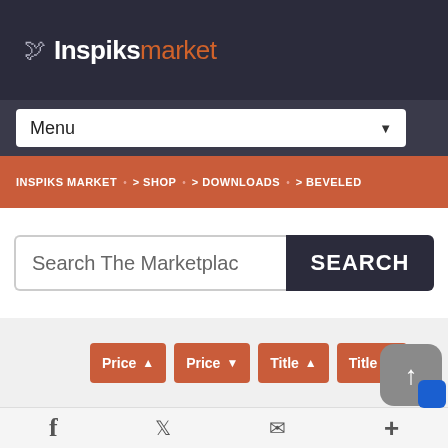Inspiksmarket
Menu
INSPIKS MARKET > SHOP > DOWNLOADS > BEVELED
Search The Marketplace
SEARCH
Price ▲   Price ▼   Title ▲   Title ▼